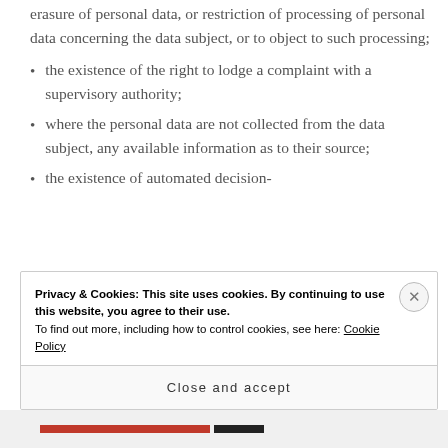erasure of personal data, or restriction of processing of personal data concerning the data subject, or to object to such processing;
the existence of the right to lodge a complaint with a supervisory authority;
where the personal data are not collected from the data subject, any available information as to their source;
the existence of automated decision-
Privacy & Cookies: This site uses cookies. By continuing to use this website, you agree to their use.
To find out more, including how to control cookies, see here: Cookie Policy
Close and accept